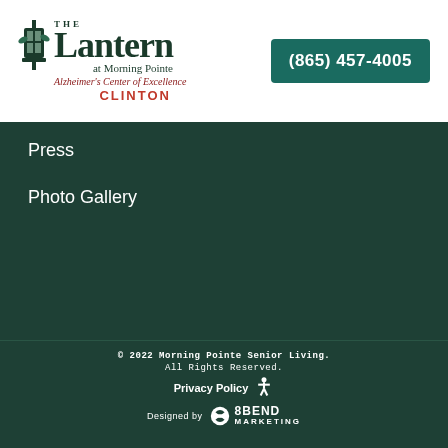[Figure (logo): The Lantern at Morning Pointe - Alzheimer's Center of Excellence CLINTON logo with lantern icon]
(865) 457-4005
Press
Photo Gallery
© 2022 Morning Pointe Senior Living. All Rights Reserved. Privacy Policy [accessibility icon] Designed by 8BEND MARKETING